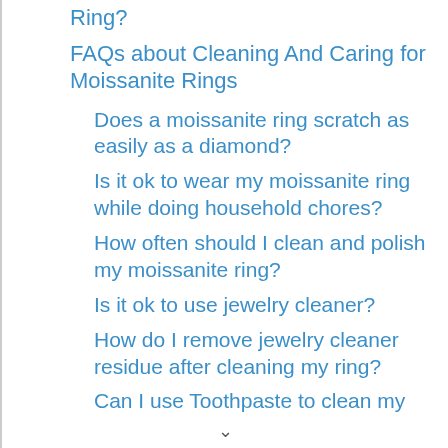Ring?
FAQs about Cleaning And Caring for Moissanite Rings
Does a moissanite ring scratch as easily as a diamond?
Is it ok to wear my moissanite ring while doing household chores?
How often should I clean and polish my moissanite ring?
Is it ok to use jewelry cleaner?
How do I remove jewelry cleaner residue after cleaning my ring?
Can I use Toothpaste to clean my